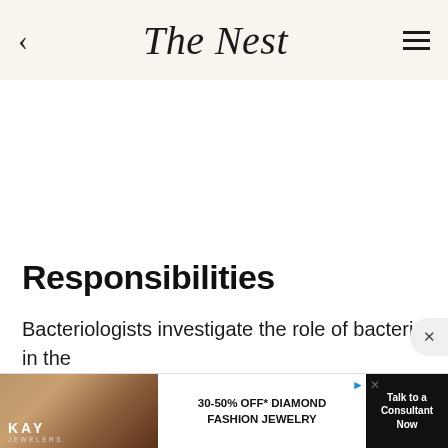The Nest
Responsibilities
Bacteriologists investigate the role of bacteria in the environment and study the use of bac... ke life
[Figure (infographic): Kay Jewelers advertisement banner: 30-50% OFF* Diamond Fashion Jewelry with Talk to a Consultant Now button]